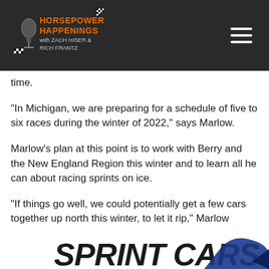Horsepower Happenings with Zach Hiser & Rich Frantz
time.
“In Michigan, we are preparing for a schedule of five to six races during the winter of 2022,” says Marlow.
Marlow’s plan at this point is to work with Berry and the New England Region this winter and to learn all he can about racing sprints on ice.
“If things go well, we could potentially get a few cars together up north this winter, to let it rip,” Marlow exclaimed.
[Figure (logo): Sprint Cars logo banner at bottom of page]